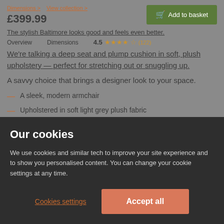Dimensions > View collection >
£399.99
Add to basket
The stylish Baltimore looks good and feels even better.
Overview    Dimensions    4.5 ★★★★☆ (122)
We're talking a deep seat and plump cushion in soft, plush upholstery — perfect for stretching out or snuggling up.
A savvy choice that brings a designer look to your space.
A sleek, modern armchair
Upholstered in soft light grey plush fabric
Soft, padded foam and fibre-filled back cushion fo...
Our cookies
We use cookies and similar tech to improve your site experience and to show you personalised content. You can change your cookie settings at any time.
Cookies settings
Accept all